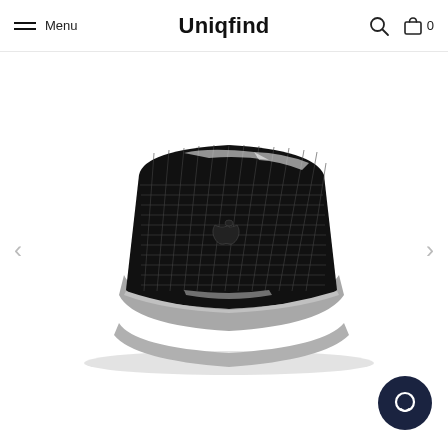Menu | Uniqfind | Search | Cart 0
[Figure (photo): A MacBook laptop with a black grid-pattern case/skin, shown at an angle displaying the back of the lid with an Apple logo visible, placed on a white background. Navigation arrows visible on left and right sides.]
[Figure (other): Dark navy circular chat support button in the bottom-right corner]